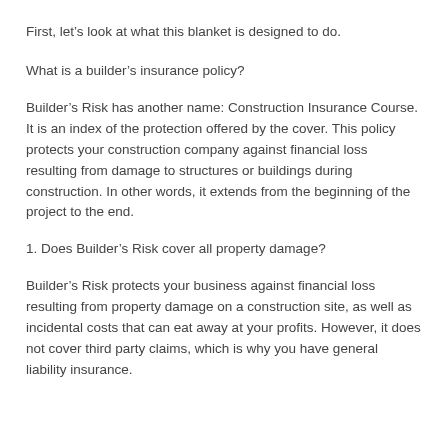First, let’s look at what this blanket is designed to do.
What is a builder’s insurance policy?
Builder’s Risk has another name: Construction Insurance Course. It is an index of the protection offered by the cover. This policy protects your construction company against financial loss resulting from damage to structures or buildings during construction. In other words, it extends from the beginning of the project to the end.
1. Does Builder’s Risk cover all property damage?
Builder’s Risk protects your business against financial loss resulting from property damage on a construction site, as well as incidental costs that can eat away at your profits. However, it does not cover third party claims, which is why you have general liability insurance.